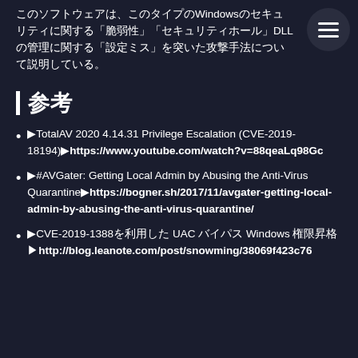このソフトウェアは、Windowsのセキュリティに関する「脆弱性」「セキュリティホール」DLLの管理に関する「設定ミス」を突いた攻撃手法について説明している。
参考
▶TotalAV 2020 4.14.31 Privilege Escalation (CVE-2019-18194)▶https://www.youtube.com/watch?v=88qeaLq98Gc
▶#AVGater: Getting Local Admin by Abusing the Anti-Virus Quarantine▶https://bogner.sh/2017/11/avgater-getting-local-admin-by-abusing-the-anti-virus-quarantine/
▶CVE-2019-1388を利用した UAC バイパス Windows 権限昇格▶http://blog.leanote.com/post/snowming/38069f423c76